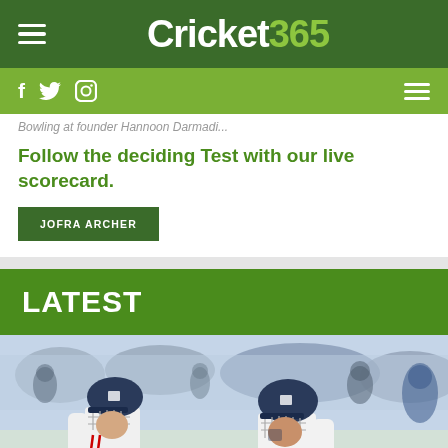Cricket365
...Bowling at founder Hannoon Darmadi...
Follow the deciding Test with our live scorecard.
JOFRA ARCHER
LATEST
[Figure (photo): Two England cricket batsmen wearing dark blue helmets and white kits walking on the field, crowd in background]